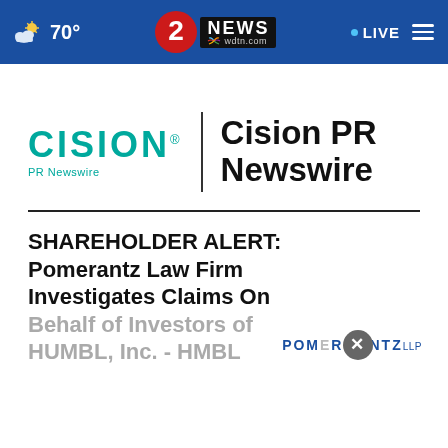70° | 2 NEWS wdtn.com | LIVE
[Figure (logo): Cision PR Newswire logo with teal CISION wordmark and 'PR Newswire' sub-label, vertical divider, and bold 'Cision PR Newswire' text]
SHAREHOLDER ALERT: Pomerantz Law Firm Investigates Claims On Behalf of Investors of HUMBL, Inc. - HMBL
[Figure (logo): Pomerantz LLP logo with close button overlay]